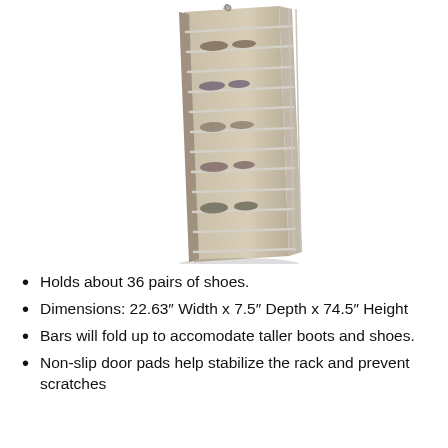[Figure (photo): An over-the-door shoe rack in a light tan/beige color with multiple horizontal wire bars holding several pairs of shoes, shown mounted on a door at a slight angle.]
Holds about 36 pairs of shoes.
Dimensions: 22.63″ Width x 7.5″ Depth x 74.5″ Height
Bars will fold up to accomodate taller boots and shoes.
Non-slip door pads help stabilize the rack and prevent scratches